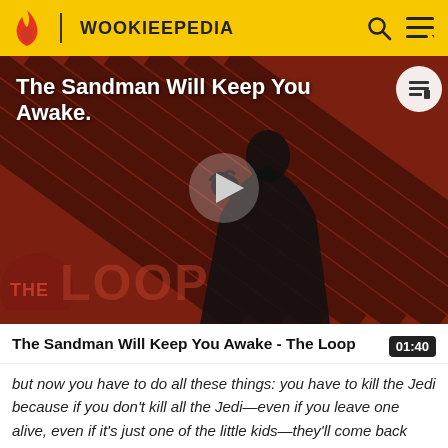WOOKIEEPEDIA
[Figure (screenshot): Video thumbnail showing a dark-cloaked figure against a red-and-black diagonal striped background. 'THE LOOP' text logo visible in lower left. A play button is centered. Title overlay reads 'The Sandman Will Keep You Awake.']
The Sandman Will Keep You Awake - The Loop
but now you have to do all these things: you have to kill the Jedi because if you don't kill all the Jedi—even if you leave one alive, even if it's just one of the little kids—they'll come back and get us and we'll be dealing with